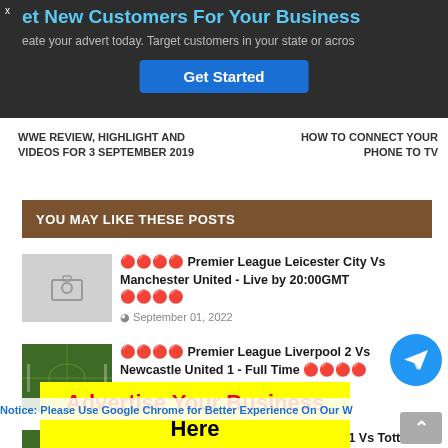[Figure (screenshot): Advertisement banner: 'Get New Customers For Your Business' with 'Get Started' button on dark background]
WWE REVIEW, HIGHLIGHT AND VIDEOS FOR 3 SEPTEMBER 2019
HOW TO CONNECT YOUR PHONE TO TV
YOU MAY LIKE THESE POSTS
[Figure (photo): Placeholder image with camera icon (grey background)]
🔴🔴🔴🔴 Premier League Leicester City Vs Manchester United - Live by 20:00GMT 🔴🔴🔴🔴
September 01, 2022
[Figure (photo): Soccer/football match photo - green field]
🔴🔴🔴🔴 Premier League Liverpool 2 Vs Newcastle United 1 - Full Time 🔴🔴🔴🔴
August 31, 2022
[Figure (photo): Soccer/football match photo - green field]
🔴🔴🔴🔴 Premier League West Ham 1 Vs Tottenham Hotspur - Fulltime 🔴🔴🔴🔴
August 31, 2022
Notice: Please Use Google Chrome for Better Experience On Our Website
[Figure (infographic): Yellow advertisement banner: 'Advertise Your Business Here']